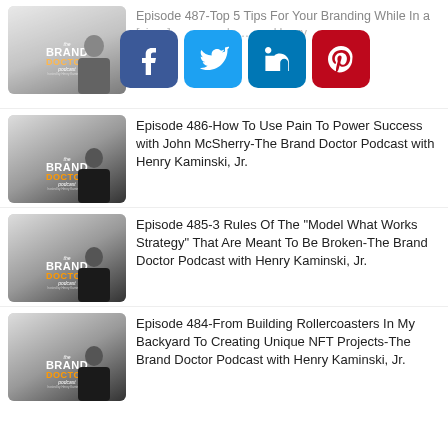[Figure (screenshot): Brand Doctor Podcast thumbnail - partially visible behind social share buttons]
Episode 487-Top 5 Tips For Your Branding While In a [Crisis/Transition]-The Brand Doctor Podcast with Henry Kaminski
[Figure (other): Social share buttons: Facebook, Twitter, LinkedIn, Pinterest]
[Figure (photo): Brand Doctor Podcast thumbnail with host]
Episode 486-How To Use Pain To Power Success with John McSherry-The Brand Doctor Podcast with Henry Kaminski, Jr.
[Figure (photo): Brand Doctor Podcast thumbnail with host]
Episode 485-3 Rules Of The "Model What Works Strategy" That Are Meant To Be Broken-The Brand Doctor Podcast with Henry Kaminski, Jr.
[Figure (photo): Brand Doctor Podcast thumbnail with host]
Episode 484-From Building Rollercoasters In My Backyard To Creating Unique NFT Projects-The Brand Doctor Podcast with Henry Kaminski, Jr.